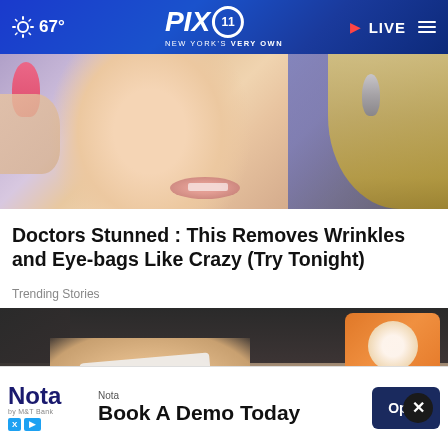67° PIX11 NEW YORK'S VERY OWN LIVE
[Figure (photo): Close-up of a blonde woman's face with pink nail polish visible, touching her face near her ear, with a dangling earring visible]
Doctors Stunned : This Removes Wrinkles and Eye-bags Like Crazy (Try Tonight)
Trending Stories
[Figure (photo): Person in dark clothing handling what appears to be a white strip or bandage, with an orange Arm & Hammer baking soda box visible]
Nota
Book A Demo Today
Open